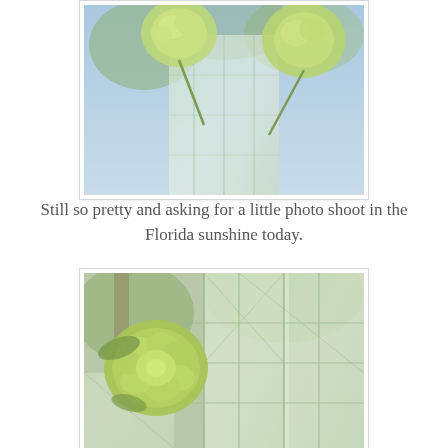[Figure (photo): Close-up photo of yellow-green carnation flowers in a clear cut glass vase, shot against a bright sky, partial view cropped at top]
Still so pretty and asking for a little photo shoot in the Florida sunshine today.
[Figure (photo): Close-up photo of yellow-green carnation flowers in a clear cut glass vase, showing the faceted glass detail and a single flower in focus against a blurred outdoor background]